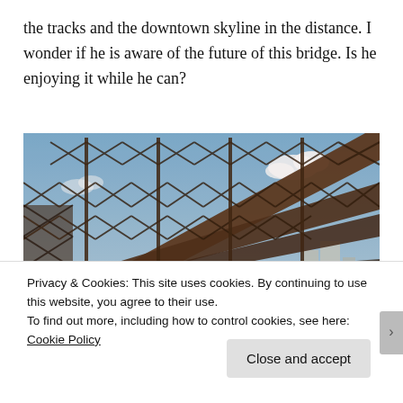the tracks and the downtown skyline in the distance. I wonder if he is aware of the future of this bridge. Is he enjoying it while he can?
[Figure (photo): Close-up photograph of a weathered steel railroad bridge truss structure taken from below/on the bridge deck, showing rust-colored lattice steel beams against a partly cloudy blue sky, with industrial buildings visible in the background.]
Privacy & Cookies: This site uses cookies. By continuing to use this website, you agree to their use.
To find out more, including how to control cookies, see here: Cookie Policy
Close and accept